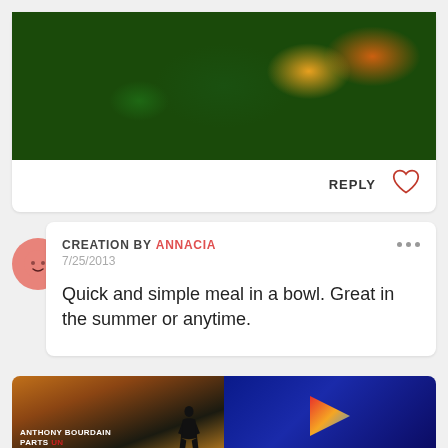[Figure (photo): Food photo showing salmon/tofu with dark greens and sesame seeds]
REPLY
[Figure (illustration): Heart icon (like button)]
CREATION BY ANNACIA
7/25/2013
Quick and simple meal in a bowl. Great in the summer or anytime.
[Figure (photo): Anthony Bourdain Parts Unknown show image and a blue background with logo]